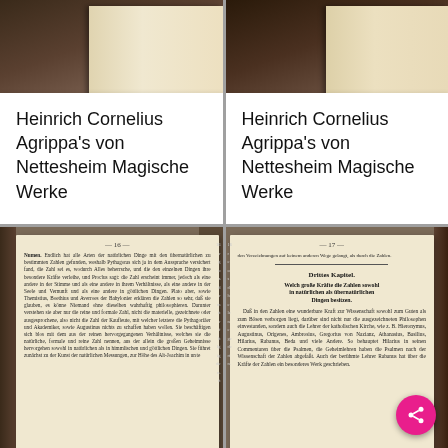[Figure (photo): Top-left: scanned image of a dark-bound book showing page edges]
Heinrich Cornelius Agrippa's von Nettesheim Magische Werke
[Figure (photo): Top-right: scanned image of a dark-bound book showing page edges and cover]
Heinrich Cornelius Agrippa's von Nettesheim Magische Werke
[Figure (photo): Bottom-left: scanned open book page 16 with German Gothic text]
[Figure (photo): Bottom-right: scanned open book page 17 with German Gothic text, showing chapter heading 'Drittes Kapitel']